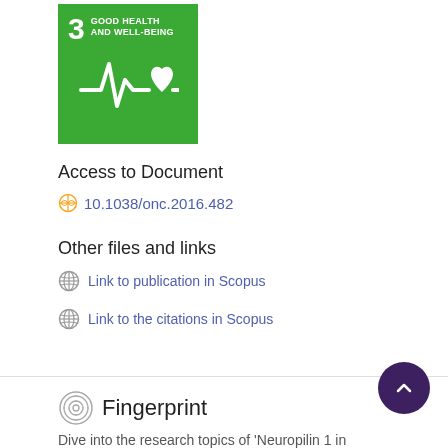[Figure (logo): UN SDG Goal 3: Good Health and Well-Being badge — green background with number 3, text GOOD HEALTH AND WELL-BEING, and a heartbeat/heart icon in white]
Access to Document
10.1038/onc.2016.482
Other files and links
Link to publication in Scopus
Link to the citations in Scopus
Fingerprint
Dive into the research topics of 'Neuropilin 1 in...